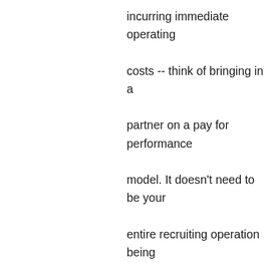incurring immediate operating costs -- think of bringing in a partner on a pay for performance model. It doesn't need to be your entire recruiting operation being outsourced, it can be as little as 10-20% of your recruiting portfolio. A lot of companies are building a hedge into their operations by